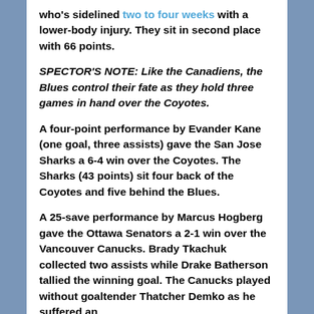who's sidelined two to four weeks with a lower-body injury. They sit in second place with 66 points.
SPECTOR'S NOTE: Like the Canadiens, the Blues control their fate as they hold three games in hand over the Coyotes.
A four-point performance by Evander Kane (one goal, three assists) gave the San Jose Sharks a 6-4 win over the Coyotes. The Sharks (43 points) sit four back of the Coyotes and five behind the Blues.
A 25-save performance by Marcus Hogberg gave the Ottawa Senators a 2-1 win over the Vancouver Canucks. Brady Tkachuk collected two assists while Drake Batherson tallied the winning goal. The Canucks played without goaltender Thatcher Demko as he suffered an